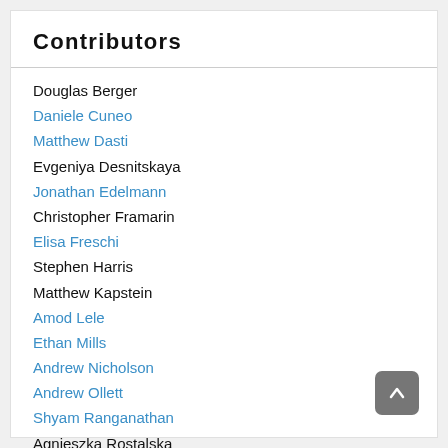Contributors
Douglas Berger
Daniele Cuneo
Matthew Dasti
Evgeniya Desnitskaya
Jonathan Edelmann
Christopher Framarin
Elisa Freschi
Stephen Harris
Matthew Kapstein
Amod Lele
Ethan Mills
Andrew Nicholson
Andrew Ollett
Shyam Ranganathan
Agnieszka Rostalska
Aleix Ruiz Falqués
Anand Vaidya
Alex Watson
Justin Whitaker